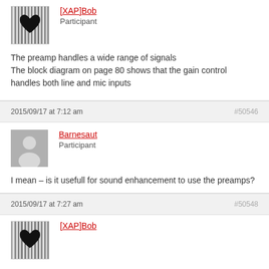[Figure (photo): Avatar for [XAP]Bob — black heart on striped barcode-like background]
[XAP]Bob
Participant
The preamp handles a wide range of signals
The block diagram on page 80 shows that the gain control handles both line and mic inputs
2015/09/17 at 7:12 am   #50546
[Figure (photo): Generic user avatar — grey silhouette of a person]
Barnesaut
Participant
I mean – is it usefull for sound enhancement to use the preamps?
2015/09/17 at 7:27 am   #50548
[Figure (photo): Avatar for [XAP]Bob — black heart on striped barcode-like background (partial)]
[XAP]Bob